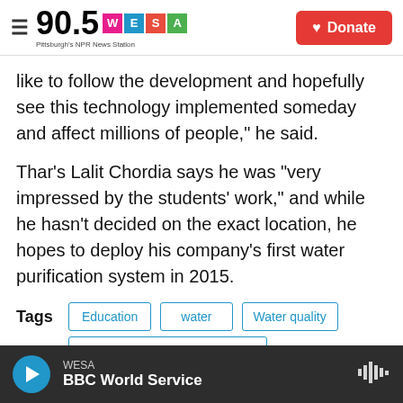90.5 WESA Pittsburgh's NPR News Station | Donate
like to follow the development and hopefully see this technology implemented someday and affect millions of people," he said.
Thar’s Lalit Chordia says he was “very impressed by the students’ work,” and while he hasn't decided on the exact location, he hopes to deploy his company’s first water purification system in 2015.
Tags: Education | water | Water quality | Features & Special Reports
WESA — BBC World Service